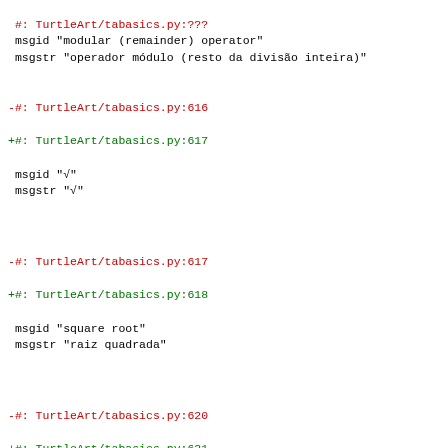#: TurtleArt/tabasics.py:??? (truncated top)
msgid "modular (remainder) operator"
msgstr "operador módulo (resto da divisão inteira)"
-#: TurtleArt/tabasics.py:616
+#: TurtleArt/tabasics.py:617
 msgid "√"
 msgstr "√"
-#: TurtleArt/tabasics.py:617
+#: TurtleArt/tabasics.py:618
 msgid "square root"
 msgstr "raiz quadrada"
-#: TurtleArt/tabasics.py:620
+#: TurtleArt/tabasics.py:621
 msgid "calculates square root"
 msgstr "calcula a raiz quadrada"
-#: TurtleArt/tabasics.py:627
+#: TurtleArt/tabasics.py:628
 msgid "random"
 msgstr "aleatório"
-#: TurtleArt/tabasics.py:627
+#: TurtleArt/tabasics.py:628
 msgid "min"
 msgstr "min"
-#: TurtleArt/tabasics.py:627
+#: TurtleArt/tabasics.py:628 (truncated bottom)